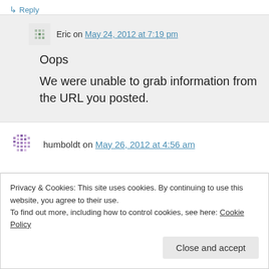↳ Reply
Eric on May 24, 2012 at 7:19 pm
Oops
We were unable to grab information from the URL you posted.
humboldt on May 26, 2012 at 4:56 am
Privacy & Cookies: This site uses cookies. By continuing to use this website, you agree to their use.
To find out more, including how to control cookies, see here: Cookie Policy
Close and accept